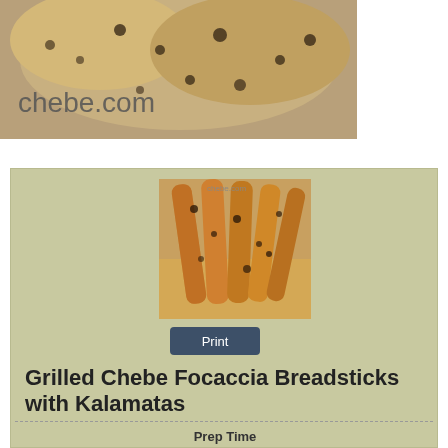[Figure (photo): Close-up photo of baked bread rolls with chebe.com watermark text overlaid]
[Figure (photo): Photo of grilled focaccia breadsticks with kalamatas on a wooden board, with chebe.com watermark]
Print
Grilled Chebe Focaccia Breadsticks with Kalamatas
Prep Time
15 mins
Cook Time